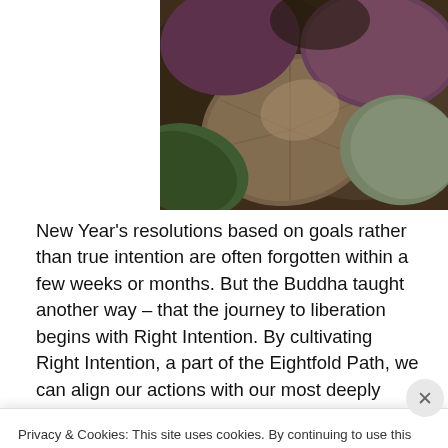[Figure (photo): Close-up photograph of lily pad leaves with reddish-brown and green hues, showing leaf textures in sunlight]
New Year’s resolutions based on goals rather than true intention are often forgotten within a few weeks or months. But the Buddha taught another way – that the journey to liberation begins with Right Intention. By cultivating Right Intention, a part of the Eightfold Path, we can align our actions with our most deeply held values. In this retreat we
Privacy & Cookies: This site uses cookies. By continuing to use this website, you agree to their use.
To find out more, including how to control cookies, see here: Cookie Policy